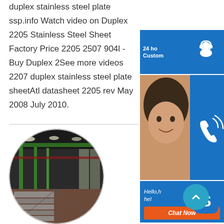duplex stainless steel plate ssp.info Watch video on Duplex 2205 Stainless Steel Sheet Factory Price 2205 2507 904l - Buy Duplex 2See more videos 2207 duplex stainless steel plate sheetAtl datasheet 2205 rev May 2008 July 2010.
[Figure (photo): Circular photo of an industrial steel manufacturing facility interior showing a long warehouse with green steel structure, overhead cranes, and steel plates on the floor.]
[Figure (infographic): Customer service sidebar widget with blue panels showing: 24-hour customer support icon with headset, phone/call icon, agent photo, Skype icon, hello text, and Chat Now orange button.]